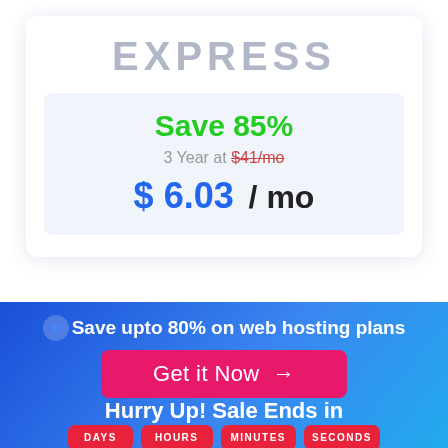EXPRESS
Save 85%
3 Year at $41/mo
$ 6.03 / mo
Save upto 80% on web hosting plans
Get it Now →
Hurry Up! Sale Ends in
DAYS
HOURS
MINUTES
SECONDS